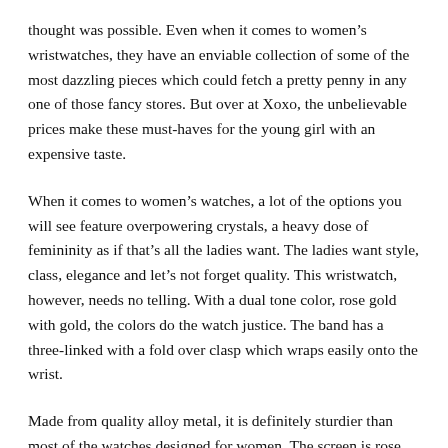thought was possible. Even when it comes to women's wristwatches, they have an enviable collection of some of the most dazzling pieces which could fetch a pretty penny in any one of those fancy stores. But over at Xoxo, the unbelievable prices make these must-haves for the young girl with an expensive taste.
When it comes to women's watches, a lot of the options you will see feature overpowering crystals, a heavy dose of femininity as if that's all the ladies want. The ladies want style, class, elegance and let's not forget quality. This wristwatch, however, needs no telling. With a dual tone color, rose gold with gold, the colors do the watch justice. The band has a three-linked with a fold over clasp which wraps easily onto the wrist.
Made from quality alloy metal, it is definitely sturdier than most of the watches designed for women. The screen is rose gold in color with undertones of taupe, encased in glass protection. The round dial is surrounded with an inlay of dazzling rhinestones; small and shiny, they look like sparkling snowflakes. With a diameter of 37 mm, reading